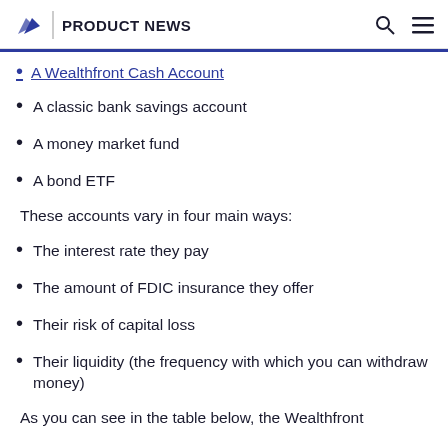PRODUCT NEWS
A Wealthfront Cash Account
A classic bank savings account
A money market fund
A bond ETF
These accounts vary in four main ways:
The interest rate they pay
The amount of FDIC insurance they offer
Their risk of capital loss
Their liquidity (the frequency with which you can withdraw money)
As you can see in the table below, the Wealthfront